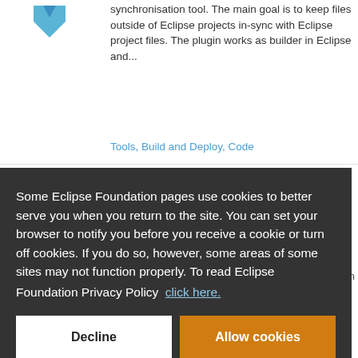[Figure (logo): Blue arrow/chevron logo icon pointing downward]
synchronisation tool. The main goal is to keep files outside of Eclipse projects in-sync with Eclipse project files. The plugin works as builder in Eclipse and...
Tools, Build and Deploy, Code
Some Eclipse Foundation pages use cookies to better serve you when you return to the site. You can set your browser to notify you before you receive a cookie or turn off cookies. If you do so, however, some areas of some sites may not function properly. To read Eclipse Foundation Privacy Policy click here.
Decline
Allow cookies
Application Management